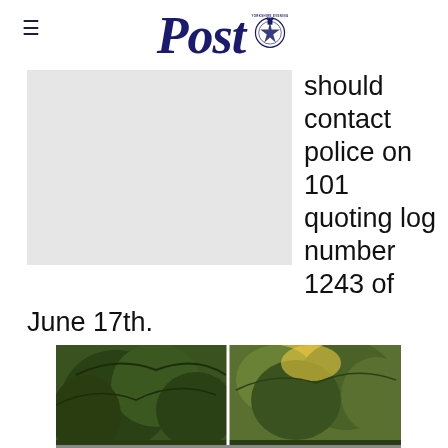Yorkshire Evening Post
[Figure (photo): Grey placeholder photo on left side]
should contact police on 101 quoting log number 1243 of June 17th.
[Figure (photo): Outdoor photo of trees with sky visible, split into two panels]